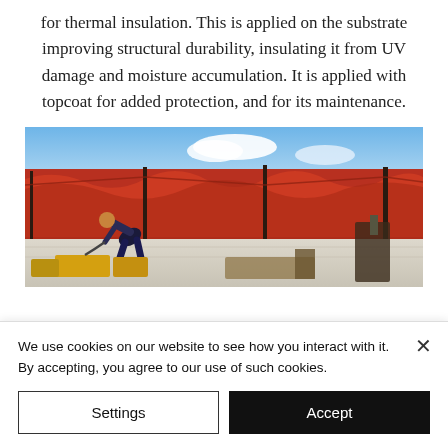for thermal insulation. This is applied on the substrate improving structural durability, insulating it from UV damage and moisture accumulation. It is applied with topcoat for added protection, and for its maintenance.
[Figure (photo): A worker bending over on a white rooftop surface with large red fabric/tarp panels stretched behind him. Yellow equipment and containers are visible in the foreground. Blue sky with white clouds in the background.]
We use cookies on our website to see how you interact with it. By accepting, you agree to our use of such cookies.